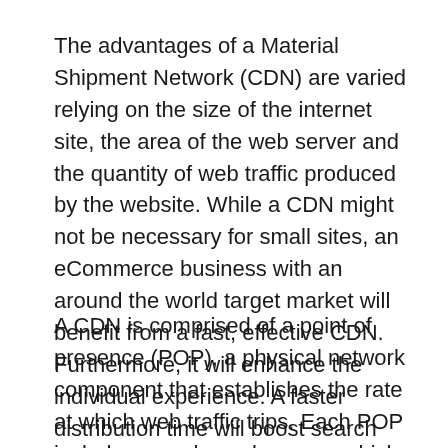The advantages of a Material Shipment Network (CDN) are varied relying on the size of the internet site, the area of the web server and the quantity of web traffic produced by the website. While a CDN might not be necessary for small sites, an eCommerce business with an around the world target market will benefit from a fast, effective CDN. Furthermore, it will enhance the individual experience. A faster distribution time will boost search engine optimization rankings as well as increase earnings. There are numerous other advantages to making use of a CDN.
A CDN is comprised of a point of presence (POP), a physical network component that establishes the rate at which web traffic trips. Each POP includes a cache web server, which offers cached web content